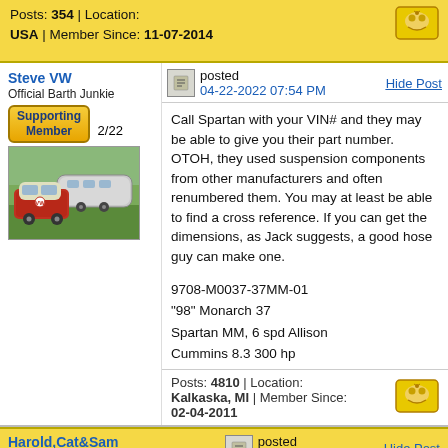Posts: 354 | Location: USA | Member Since: 11-07-2014
Steve VW
Official Barth Junkie
Supporting Member 2/22
posted 04-22-2022 07:54 PM
Hide Post
Call Spartan with your VIN# and they may be able to give you their part number. OTOH, they used suspension components from other manufacturers and often renumbered them. You may at least be able to find a cross reference. If you can get the dimensions, as Jack suggests, a good hose guy can make one.

9708-M0037-37MM-01
"98" Monarch 37
Spartan MM, 6 spd Allison
Cummins 8.3 300 hp
Posts: 4810 | Location: Kalkaska, MI | Member Since: 02-04-2011
Harold,Cat&Sam
Supporting
posted 04-22-2022 10:02 PM
Hide Post